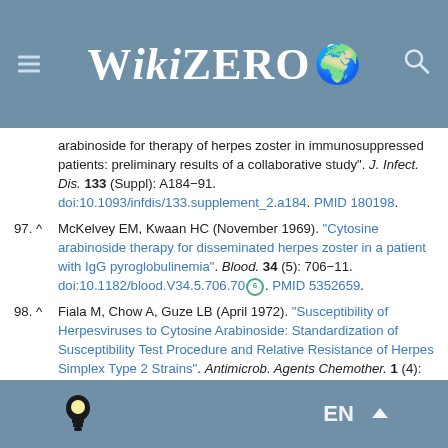[Figure (logo): WikiZero logo with globe emoji on steel blue header background]
arabinoside for therapy of herpes zoster in immunosuppressed patients: preliminary results of a collaborative study". J. Infect. Dis. 133 (Suppl): A184-91. doi:10.1093/infdis/133.supplement_2.a184. PMID 180198.
97. ^ McKelvey EM, Kwaan HC (November 1969). "Cytosine arabinoside therapy for disseminated herpes zoster in a patient with IgG pyroglobulinemia". Blood. 34 (5): 706-11. doi:10.1182/blood.V34.5.706.706. PMID 5352659.
98. ^ Fiala M, Chow A, Guze LB (April 1972). "Susceptibility of Herpesviruses to Cytosine Arabinoside: Standardization of Susceptibility Test Procedure and Relative Resistance of Herpes Simplex Type 2 Strains". Antimicrob. Agents Chemother. 1 (4): 354-57. doi:10.1128/aac.1.4.354. PMC 444223. PMID 4364937.
99. ^ Allen LB, Hintz OJ, Wolf SM, et al. (June 1976). "Effect of 9-beta-D-arabinofuranosylhypoxanthine 5'-monophosphate on genital lesions